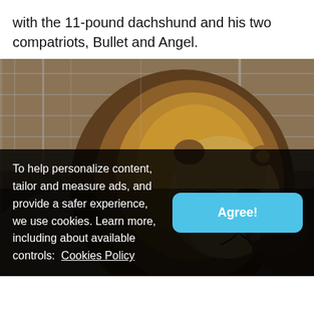with the 11-pound dachshund and his two compatriots, Bullet and Angel.
[Figure (photo): A lion with a large mane facing slightly upward, appearing content, while a small dachshund dog licks or nuzzles the lion's chin. The setting appears to be an enclosure with chain-link fencing visible in the background.]
To help personalize content, tailor and measure ads, and provide a safer experience, we use cookies. Learn more, including about available controls:  Cookies Policy